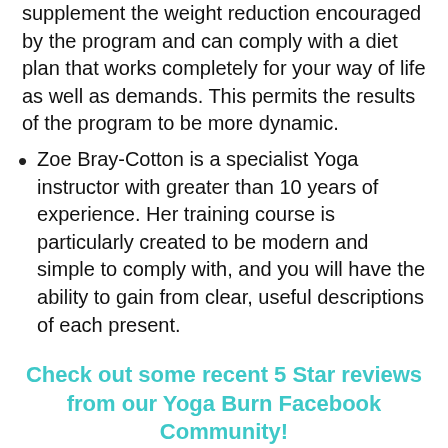supplement the weight reduction encouraged by the program and can comply with a diet plan that works completely for your way of life as well as demands. This permits the results of the program to be more dynamic.
Zoe Bray-Cotton is a specialist Yoga instructor with greater than 10 years of experience. Her training course is particularly created to be modern and simple to comply with, and you will have the ability to gain from clear, useful descriptions of each present.
Check out some recent 5 Star reviews from our Yoga Burn Facebook Community!
Time to My Joy
Elizabeth Tate-Bradt January's plan: I lost 30 pounds in 2018. Here's to losing the last 20 pounds in 2019!